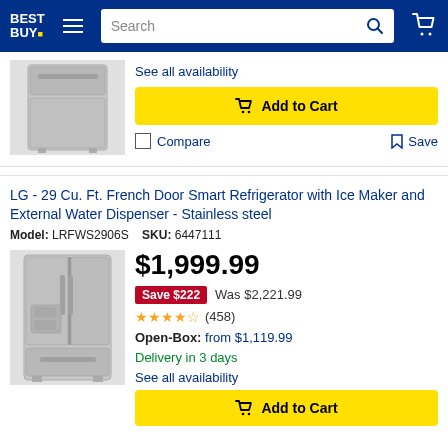Best Buy - navigation header with search bar and cart
[Figure (photo): Partial view of a stainless steel refrigerator appliance thumbnail]
See all availability
Add to Cart
Compare   Save
LG - 29 Cu. Ft. French Door Smart Refrigerator with Ice Maker and External Water Dispenser - Stainless steel
Model: LRFWS2906S   SKU: 6447111
[Figure (photo): LG stainless steel French Door refrigerator with water dispenser]
$1,999.99
Save $222  Was $2,221.99
4.5 stars (458)
Open-Box: from $1,119.99
Delivery in 3 days
See all availability
Add to Cart